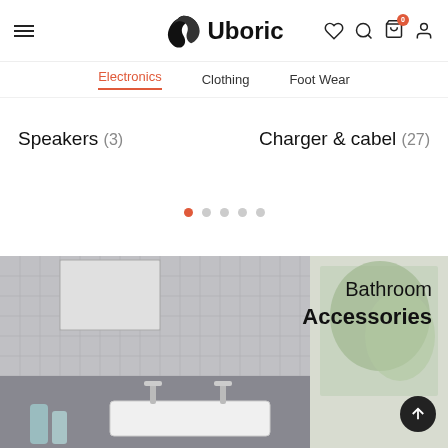[Figure (screenshot): Uboric e-commerce website header with logo, menu icon, and navigation icons for wishlist, search, cart (badge: 0), and account]
Uboric
Electronics (active tab)
Clothing
Foot Wear
Speakers (3)
Charger & cabel (27)
[Figure (other): Carousel pagination dots: 5 dots, first one active (orange)]
[Figure (photo): Bathroom accessories promotional banner showing a modern bathroom with tile walls, wall-mounted faucets, white sink, and blue/grey bottles. Text overlay: Bathroom Accessories]